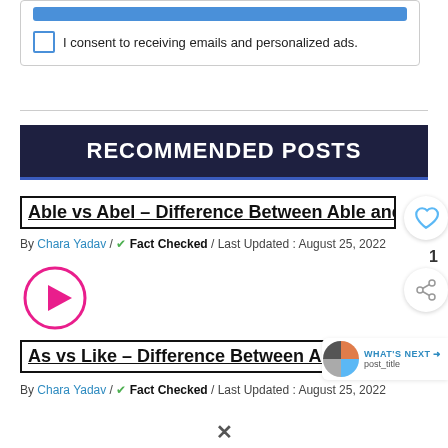[Figure (screenshot): Top section of a web page showing a blue bar and a checkbox with text 'I consent to receiving emails and personalized ads.']
I consent to receiving emails and personalized ads.
RECOMMENDED POSTS
Able vs Abel – Difference Between Able and Ab...
By Chara Yadav / ✔ Fact Checked / Last Updated : August 25, 2022
[Figure (other): Pink circular play button icon]
As vs Like – Difference Between As...
By Chara Yadav / ✔ Fact Checked / Last Updated : August 25, 2022
[Figure (other): What's Next widget with pie chart icon and post_title label]